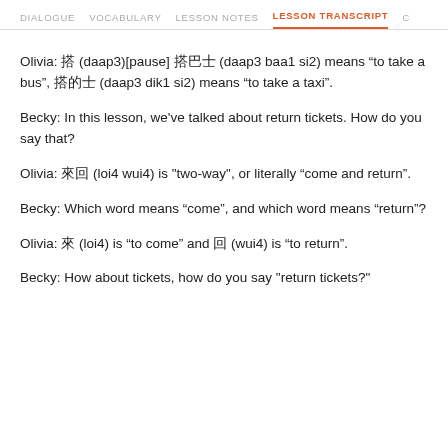DIALOGUE   VOCABULARY   LESSON NOTES   LESSON TRANSCRIPT   C
Olivia: 搭 (daap3)[pause] 搭巴士 (daap3 baa1 si2) means “to take a bus”, 搭的士 (daap3 dik1 si2) means “to take a taxi”.
Becky: In this lesson, we've talked about return tickets. How do you say that?
Olivia: 來回 (loi4 wui4) is "two-way", or literally “come and return”.
Becky: Which word means “come”, and which word means “return”?
Olivia: 來 (loi4) is “to come” and 回 (wui4) is “to return”.
Becky: How about tickets, how do you say "return tickets?"